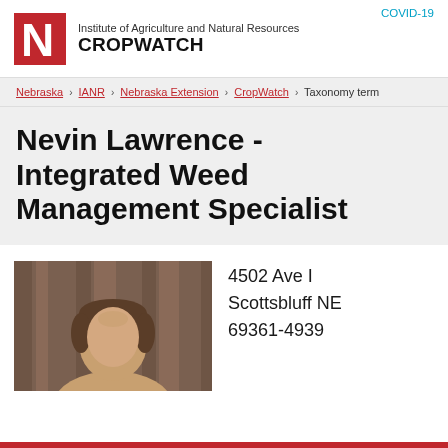COVID-19
Institute of Agriculture and Natural Resources CROPWATCH
Nebraska › IANR › Nebraska Extension › CropWatch › Taxonomy term
Nevin Lawrence - Integrated Weed Management Specialist
[Figure (photo): Headshot portrait of Nevin Lawrence against a wooden background]
4502 Ave I Scottsbluff NE 69361-4939